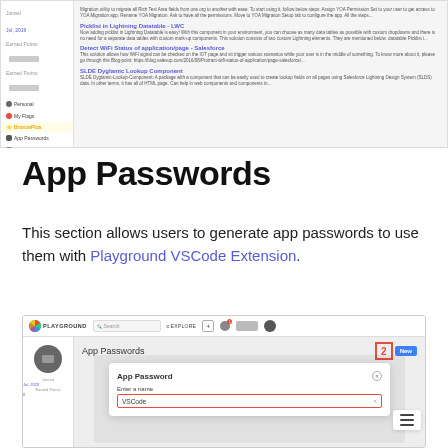[Figure (screenshot): Screenshot of a web application interface showing a sidebar with navigation items (Joined date, Earned Points, Personal, My Flags, BronzePlus highlighted, App Passwords, My Team) and a main content area with article listings including 'Picklist in Lightning Datatable - LWC', 'Detect WiFi Status of application/page - Salesforce', and 'SLDE Gyglamic Lookup Component']
App Passwords
This section allows users to generate app passwords to use them with Playground VSCode Extension.
[Figure (screenshot): Screenshot of the Playground web application showing the App Passwords section with a numbered badge '2' and a 'New' button, and an open modal dialog titled 'App Password' with an input field labeled 'Enter a name' containing the text 'VSCode']